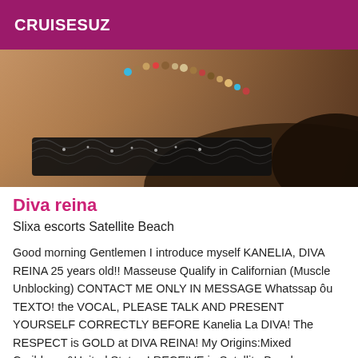CRUISESUZ
[Figure (photo): Close-up photo of a person wearing a beaded necklace and black lace lingerie, cropped at chest/neck level]
Diva reina
Slixa escorts Satellite Beach
Good morning Gentlemen I introduce myself KANELIA, DIVA REINA 25 years old!! Masseuse Qualify in Californian (Muscle Unblocking) CONTACT ME ONLY IN MESSAGE Whatssap ôu TEXTO! the VOCAL, PLEASE TALK AND PRESENT YOURSELF CORRECTLY BEFORE Kanelia La DIVA! The RESPECT is GOLD at DIVA REINA! My Origins:Mixed Caribbean&United States I RECEIVE in Satellite Beach Irreproachable Hygiene, Moment of Relaxation, Warm and Friendly